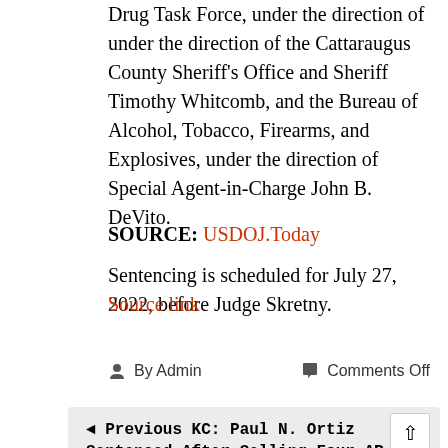Drug Task Force, under the direction of under the direction of the Cattaraugus County Sheriff's Office and Sheriff Timothy Whitcomb, and the Bureau of Alcohol, Tobacco, Firearms, and Explosives, under the direction of Special Agent-in-Charge John B. DeVito.
Sentencing is scheduled for July 27, 2022, before Judge Skretny.
SOURCE: USDOJ.Today
Source link
By Admin   Comments Off
◄ Previous KC: Paul N. Ortiz Sentenced After Selling Four AR-15s